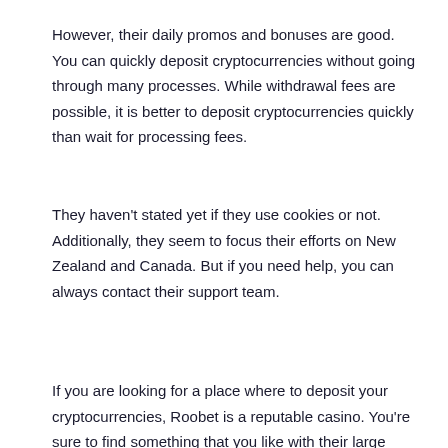However, their daily promos and bonuses are good. You can quickly deposit cryptocurrencies without going through many processes. While withdrawal fees are possible, it is better to deposit cryptocurrencies quickly than wait for processing fees.
They haven't stated yet if they use cookies or not. Additionally, they seem to focus their efforts on New Zealand and Canada. But if you need help, you can always contact their support team.
If you are looking for a place where to deposit your cryptocurrencies, Roobet is a reputable casino. You're sure to find something that you like with their large selection of games.
[Figure (photo): Dark casino-themed image with teal/cyan lighting glow in the background and neon pink/green signage visible on the right reading 'HOT SHOTS WIN BIG MONEY']